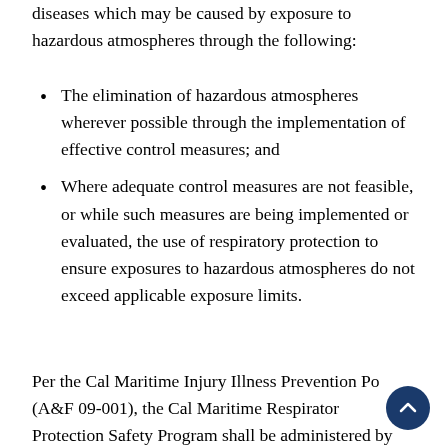diseases which may be caused by exposure to hazardous atmospheres through the following:
The elimination of hazardous atmospheres wherever possible through the implementation of effective control measures; and
Where adequate control measures are not feasible, or while such measures are being implemented or evaluated, the use of respiratory protection to ensure exposures to hazardous atmospheres do not exceed applicable exposure limits.
Per the Cal Maritime Injury Illness Prevention Po (A&F 09-001), the Cal Maritime Respirator Protection Safety Program shall be administered by